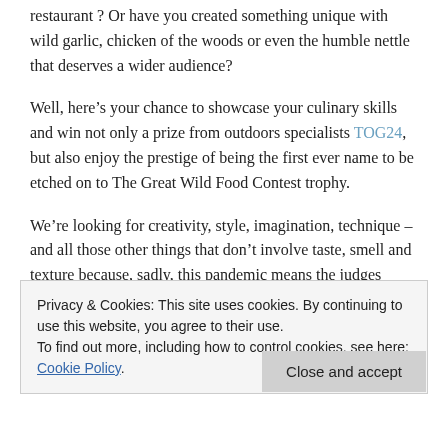restaurant ? Or have you created something unique with wild garlic, chicken of the woods or even the humble nettle that deserves a wider audience?
Well, here’s your chance to showcase your culinary skills and win not only a prize from outdoors specialists TOG24, but also enjoy the prestige of being the first ever name to be etched on to The Great Wild Food Contest trophy.
We’re looking for creativity, style, imagination, technique – and all those other things that don’t involve taste, smell and texture because, sadly, this pandemic means the judges don’t even get the pleasure of tasting your
Privacy & Cookies: This site uses cookies. By continuing to use this website, you agree to their use.
To find out more, including how to control cookies, see here: Cookie Policy
Close and accept